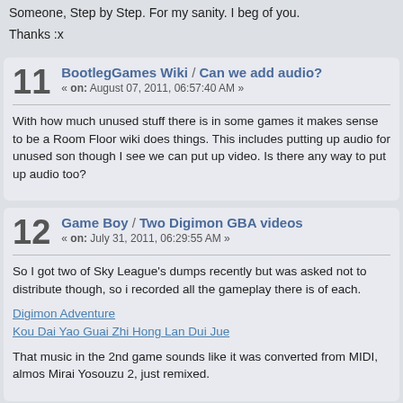Someone, Step by Step. For my sanity. I beg of you.

Thanks :x
11  BootlegGames Wiki / Can we add audio?
« on: August 07, 2011, 06:57:40 AM »
With how much unused stuff there is in some games it makes sense to be a Room Floor wiki does things. This includes putting up audio for unused son though I see we can put up video. Is there any way to put up audio too?
12  Game Boy / Two Digimon GBA videos
« on: July 31, 2011, 06:29:55 AM »
So I got two of Sky League's dumps recently but was asked not to distribute though, so i recorded all the gameplay there is of each.
Digimon Adventure
Kou Dai Yao Guai Zhi Hong Lan Dui Jue
That music in the 2nd game sounds like it was converted from MIDI, almos Mirai Yosouzu 2, just remixed.